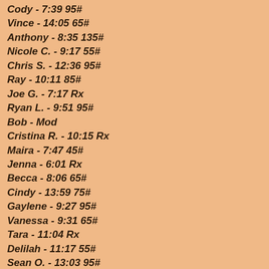Cody - 7:39 95#
Vince - 14:05 65#
Anthony - 8:35 135#
Nicole C. - 9:17 55#
Chris S. - 12:36 95#
Ray - 10:11 85#
Joe G. - 7:17 Rx
Ryan L. - 9:51 95#
Bob - Mod
Cristina R. - 10:15 Rx
Maira - 7:47 45#
Jenna - 6:01 Rx
Becca - 8:06 65#
Cindy - 13:59 75#
Gaylene - 9:27 95#
Vanessa - 9:31 65#
Tara - 11:04 Rx
Delilah - 11:17 55#
Sean O. - 13:03 95#
Andres - 12:30 135#
CJ - 5:46 Rx
Chris T. - 11:17 115#